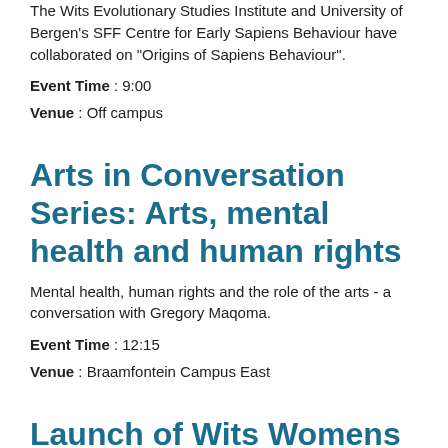The Wits Evolutionary Studies Institute and University of Bergen's SFF Centre for Early Sapiens Behaviour have collaborated on "Origins of Sapiens Behaviour".
Event Time : 9:00
Venue : Off campus
Arts in Conversation Series: Arts, mental health and human rights
Mental health, human rights and the role of the arts - a conversation with Gregory Maqoma.
Event Time : 12:15
Venue : Braamfontein Campus East
Launch of Wits Womens Rugby